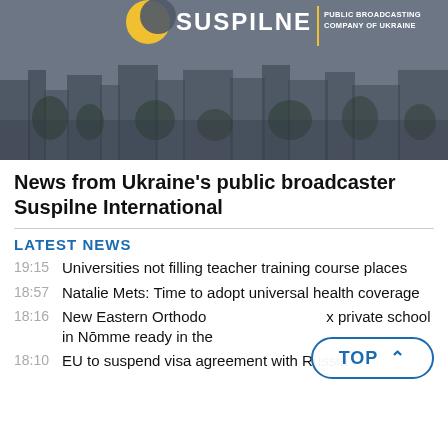[Figure (photo): Suspilne logo on a grey urban skyline background. Logo shows yellow circle, SUSPILNE wordmark in white, vertical yellow divider, and PUBLIC BROADCASTING COMPANY OF UKRAINE text.]
News from Ukraine's public broadcaster Suspilne International
LATEST NEWS
19:15   Universities not filling teacher training course places
18:57   Natalie Mets: Time to adopt universal health coverage
18:16   New Eastern Orthodox private school in Nōmme ready in the
18:10   EU to suspend visa agreement with Russia